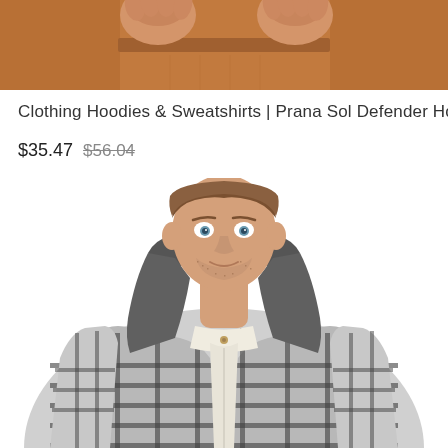[Figure (photo): Cropped photo showing the lower torso and hands of a person wearing brown/tan pants, viewed from slightly above. Only hands and waist area visible.]
Clothing Hoodies & Sweatshirts | Prana Sol Defender Hoo
$35.47 $56.04
[Figure (photo): A man wearing a gray and black plaid hooded sweatshirt/hoodie over a white henley shirt. He has brown hair, a short beard, and is looking at the camera with a subtle smile. The hood is down behind his head.]